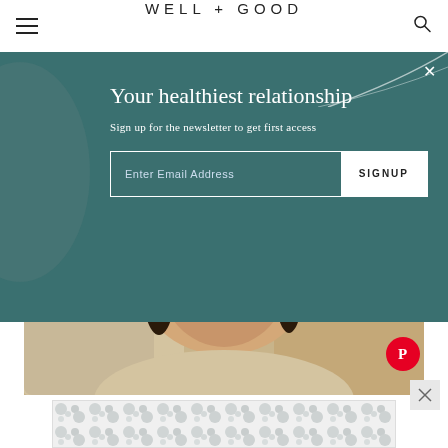WELL+GOOD
Your healthiest relationship
Sign up for the newsletter to get first access
Enter Email Address
SIGNUP
[Figure (photo): Smiling woman photographed indoors, wearing a cream knit sweater with hoop earrings]
Photo: Getty Images / kate_sept2004
[Figure (other): Advertisement banner with decorative circular pattern in light grey and white]